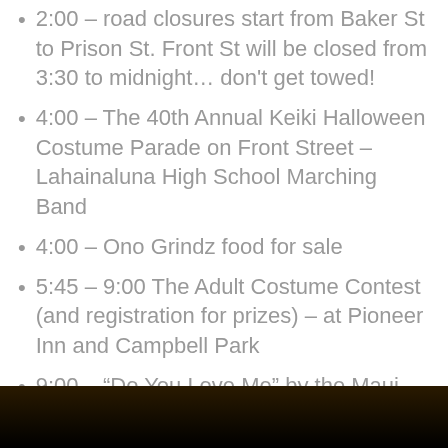2:00 – road closures start from Baker St to Prison St.  Front St will be closed from 3:30 to midnight… don't get towed!
4:00  – The 40th Annual Keiki Halloween Costume Parade on Front Street – Lahainaluna High School Marching Band
4:00 – Ono Grindz food for sale
5:45 – 9:00  The Adult Costume Contest (and registration for prizes) – at Pioneer Inn and Campbell Park
9:00 – “Do You Love Me” by the Maui Hoop Crew – at Campbell Park
[Figure (photo): Dark image at the bottom of the page, appears to show a dark nighttime scene]